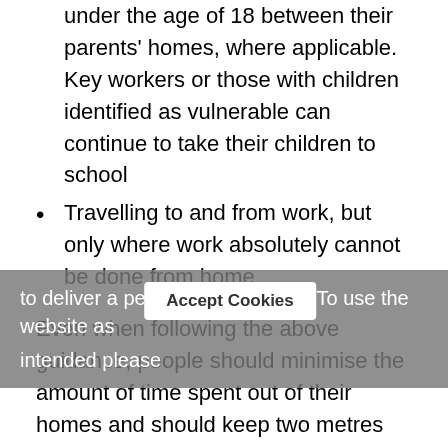under the age of 18 between their parents' homes, where applicable. Key workers or those with children identified as vulnerable can continue to take their children to school
Travelling to and from work, but only where work absolutely cannot be done from home
Even when following the above guidance, people should minimise the amount of time spent out of their homes and should keep two metres (6ft) away from people they do not live with.
We love our parks and greenspaces but at this time we must completely limit the time spent in them to the minimum and only for exercising. The Police and local authorities will have powers to disperse gatherings, including through fines